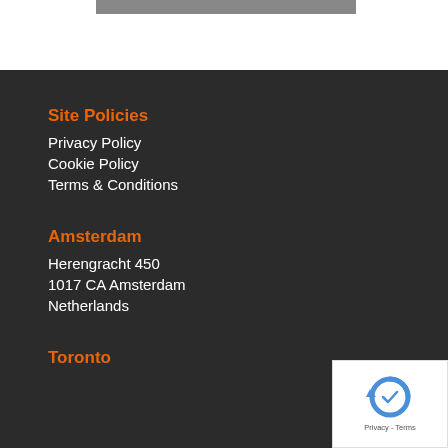Site Policies
Privacy Policy
Cookie Policy
Terms & Conditions
Amsterdam
Herengracht 450
1017 CA Amsterdam
Netherlands
Toronto